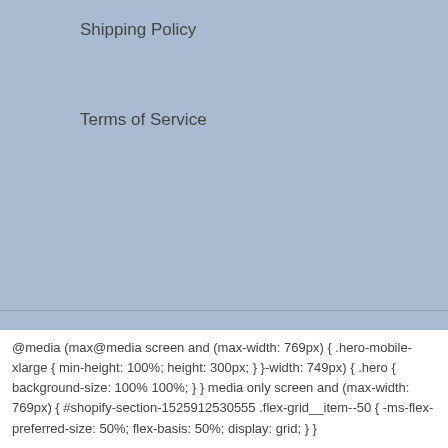Shipping Policy
Terms of Service
[Figure (logo): Facebook icon — dark square with white 'f' letter]
© 2022, Placemats and More Powered by Shopify
@media (max@media screen and (max-width: 769px) { .hero-mobile-xlarge { min-height: 100%; height: 300px; } }-width: 749px) { .hero { background-size: 100% 100%; } } media only screen and (max-width: 769px) { #shopify-section-1525912530555 .flex-grid__item--50 { -ms-flex-preferred-size: 50%; flex-basis: 50%; display: grid; } }